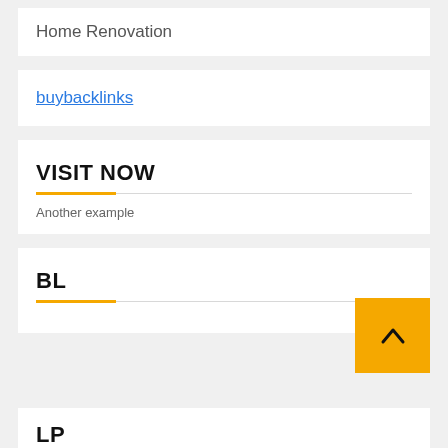Home Renovation
buybacklinks
VISIT NOW
Another example
BL
LP